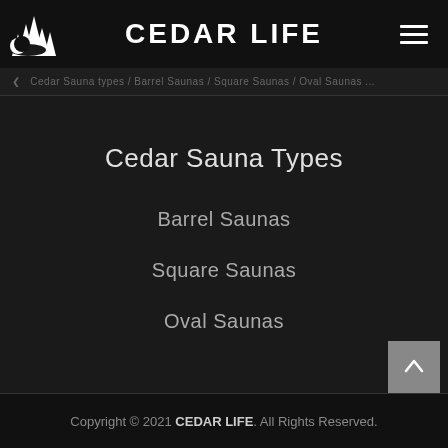CEDAR LIFE
Cedar Sauna types | Barrel Saunas | Square Saunas | Oval Saunas
Cedar Sauna Types
Barrel Saunas
Square Saunas
Oval Saunas
Copyright © 2021 CEDAR LIFE. All Rights Reserved.